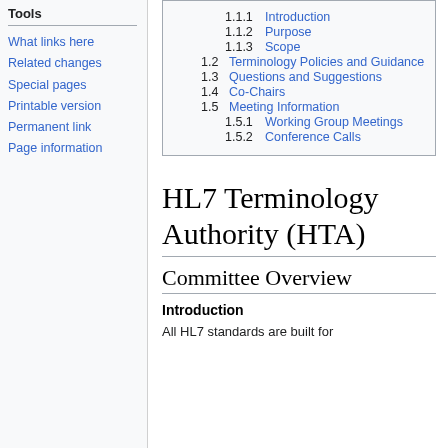Tools
What links here
Related changes
Special pages
Printable version
Permanent link
Page information
[Figure (other): Table of contents block listing: 1.1.1 Introduction, 1.1.2 Purpose, 1.1.3 Scope, 1.2 Terminology Policies and Guidance, 1.3 Questions and Suggestions, 1.4 Co-Chairs, 1.5 Meeting Information, 1.5.1 Working Group Meetings, 1.5.2 Conference Calls]
HL7 Terminology Authority (HTA)
Committee Overview
Introduction
All HL7 standards are built for